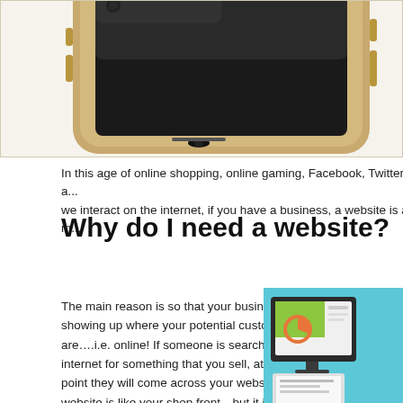[Figure (photo): Close-up photo of a gold smartphone (iPhone) seen from above at an angle, placed on a light beige/cream surface with a border]
In this age of online shopping, online gaming, Facebook, Twitter a... we interact on the internet, if you have a business, a website is a m...
Why do I need a website?
The main reason is so that your business is showing up where your potential customers are….i.e. online! If someone is searching the internet for something that you sell, at some point they will come across your website. A website is like your shop front…but it is open 24 hours a day, 7 days a week. It sells your products or services even when you're asleep, on holiday
[Figure (illustration): Flat design illustration of a desktop computer monitor and a laptop showing website/app interface elements on a light blue background]